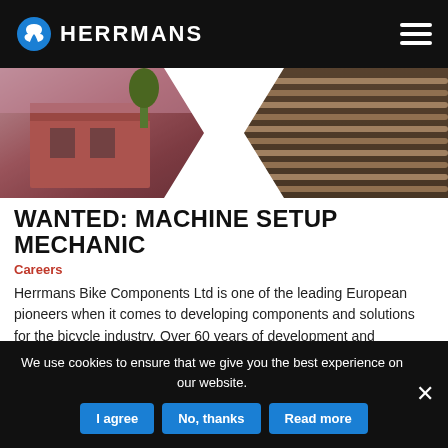HERRMANS
[Figure (photo): Banner showing two photos: a red brick building exterior on the left and industrial metal rods/rails on the right, with a white chevron shape in the center.]
WANTED: MACHINE SETUP MECHANIC
Careers
Herrmans Bike Components Ltd is one of the leading European pioneers when it comes to developing components and solutions for the bicycle industry. Over 60 years of development and manufacturing, in close collaboration with European bicycle manufacturers, ensures the competence of our company, both for the needs of today and for the opportunities of the
We use cookies to ensure that we give you the best experience on our website.